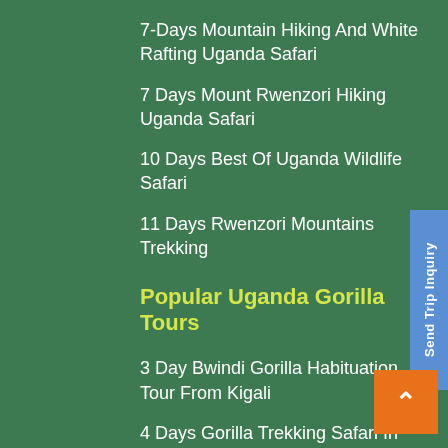7-Days Mountain Hiking And White Rafting Uganda Safari
7 Days Mount Rwenzori Hiking Uganda Safari
10 Days Best Of Uganda Wildlife Safari
11 Days Rwenzori Mountains Trekking
Popular Uganda Gorilla Tours
3 Day Bwindi Gorilla Habituation Tour From Kigali
4 Days Gorilla Trekking Safari In Uganda
5 Day Mountain Gorilla Habituation And Trekking
6 Day Mgahinga Mountain Gorillas Golden Monkeys – Batwa Trail